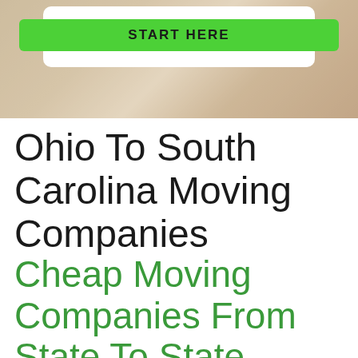[Figure (photo): Banner image showing a room interior with wooden floor and a white card/box containing a green 'START HERE' button]
Ohio To South Carolina Moving Companies
Cheap Moving Companies From State To State Recommended